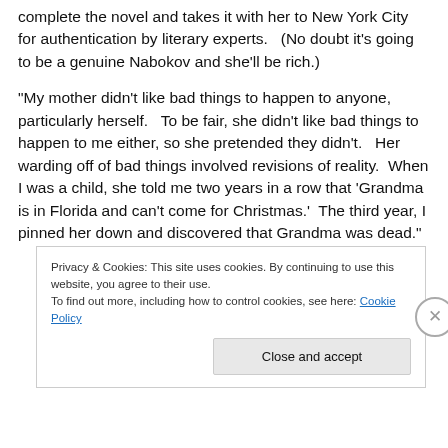complete the novel and takes it with her to New York City for authentication by literary experts.   (No doubt it’s going to be a genuine Nabokov and she’ll be rich.)
“My mother didn’t like bad things to happen to anyone, particularly herself.   To be fair, she didn’t like bad things to happen to me either, so she pretended they didn’t.   Her warding off of bad things involved revisions of reality.  When I was a child, she told me two years in a row that ‘Grandma is in Florida and can’t come for Christmas.’  The third year, I pinned her down and discovered that Grandma was dead.”
Privacy & Cookies: This site uses cookies. By continuing to use this website, you agree to their use.
To find out more, including how to control cookies, see here: Cookie Policy